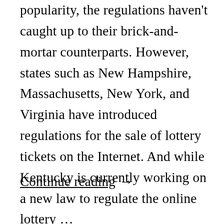popularity, the regulations haven't caught up to their brick-and-mortar counterparts. However, states such as New Hampshire, Massachusetts, New York, and Virginia have introduced regulations for the sale of lottery tickets on the Internet. And while Kentucky is currently working on a new law to regulate the online lottery …
Continue reading →